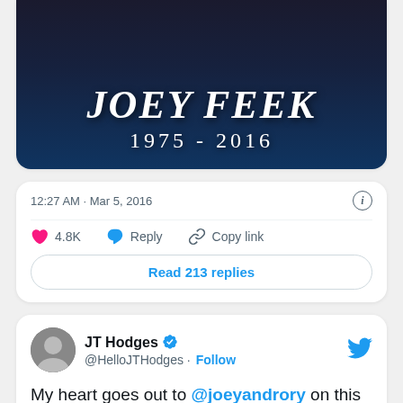[Figure (screenshot): Memorial image for Joey Feek showing text 'JOEY FEEK 1975 - 2016' on dark background]
12:27 AM · Mar 5, 2016
4.8K   Reply   Copy link
Read 213 replies
JT Hodges @HelloJTHodges · Follow
My heart goes out to @joeyandrory on this day. Joey has gone to a better place, I send my thoughts, love and prayers to Rory and family.
12:36 AM · Mar 5, 2016